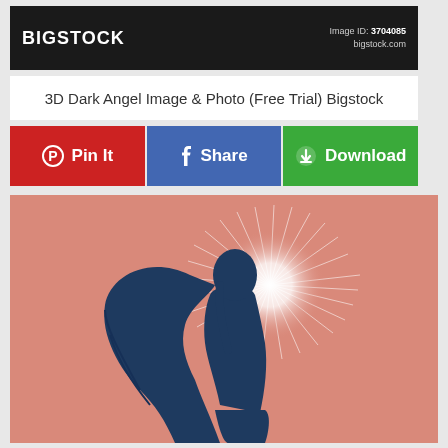[Figure (logo): Bigstock logo on black bar with Image ID: 3704085 and bigstock.com]
3D Dark Angel Image & Photo (Free Trial) Bigstock
Pin It | Share | Download
[Figure (illustration): Dark angel silhouette with wings and radiant light halo on pink/salmon background]